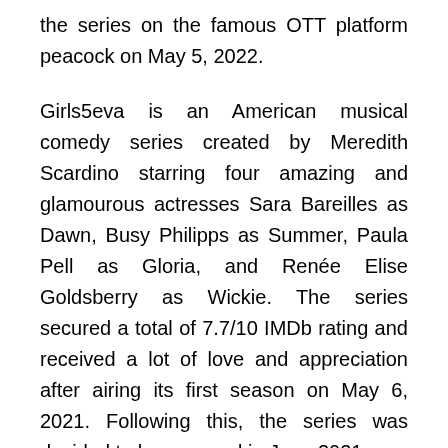the series on the famous OTT platform peacock on May 5, 2022.
Girls5eva is an American musical comedy series created by Meredith Scardino starring four amazing and glamourous actresses Sara Bareilles as Dawn, Busy Philipps as Summer, Paula Pell as Gloria, and Renée Elise Goldsberry as Wickie. The series secured a total of 7.7/10 IMDb rating and received a lot of love and appreciation after airing its first season on May 6, 2021. Following this, the series was decided to be renewed in June 2021.